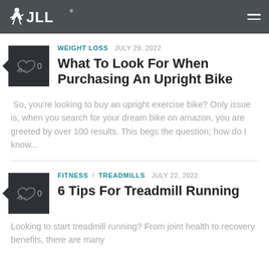JLL
WEIGHT LOSS  JULY 29, 2022
What To Look For When Purchasing An Upright Bike
So, you're looking to buy an upright exercise bike? Only issue is, when you search for your dream bike on amazon, you are greeted by over 100 results. This begs the question; how do I know...
FITNESS / TREADMILLS  JULY 22, 2022
6 Tips For Treadmill Running
Looking to start treadmill running? From joint health to recovery benefits, there are many